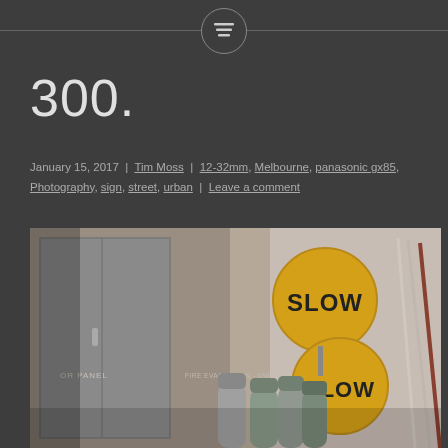300.
January 15, 2017 | Tim Moss | 12-32mm, Melbourne, panasonic gx85, Photography, sign, street, urban | Leave a comment
[Figure (photo): Indoor storage area showing two round yellow SLOW signs leaning against a beige wall, alongside several gas cylinders and long-handled brooms/mops. On the left is a metal panel cabinet with text reading 'OR PANEL' and 'FIRE EVACUATION - ANEL'.]